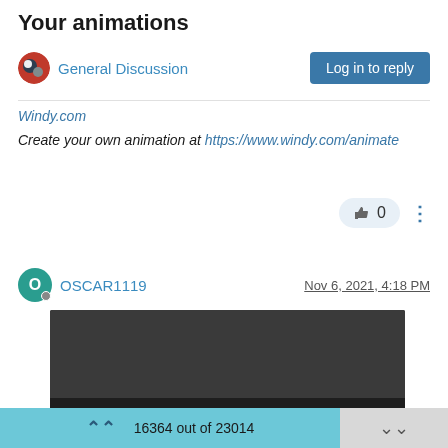Your animations
General Discussion
Log in to reply
Windy.com
Create your own animation at https://www.windy.com/animate
0
OSCAR1119  Nov 6, 2021, 4:18 PM
[Figure (screenshot): Video player showing a dark video thumbnail with controls bar at bottom. Time shows 0:00. Controls include play button, time, mute, fullscreen, and more options. Progress bar at very bottom.]
16364 out of 23014